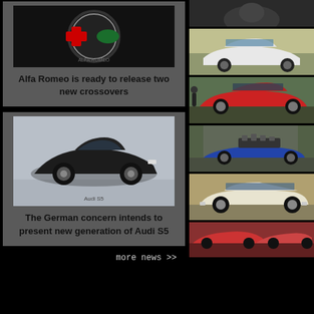[Figure (photo): Alfa Romeo badge/logo on dark background]
Alfa Romeo is ready to release two new crossovers
[Figure (photo): Black Audi S5 car parked in showroom/garage]
The German concern intends to present new generation of Audi S5
more news >>
[Figure (photo): Dark bird/animal photo]
[Figure (photo): White car parked outside building]
[Figure (photo): Red coupe car parked on street]
[Figure (photo): Blue car with engine exposed on top in forest]
[Figure (photo): Cream/white station wagon car]
[Figure (photo): Red cars at car show/gathering]